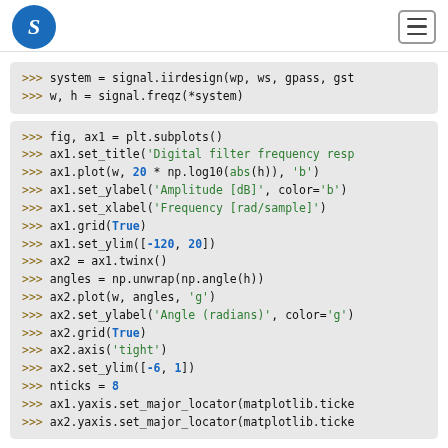S [logo] [hamburger menu]
>>> system = signal.iirdesign(wp, ws, gpass, gst
>>> w, h = signal.freqz(*system)
>>> fig, ax1 = plt.subplots()
>>> ax1.set_title('Digital filter frequency resp
>>> ax1.plot(w, 20 * np.log10(abs(h)), 'b')
>>> ax1.set_ylabel('Amplitude [dB]', color='b')
>>> ax1.set_xlabel('Frequency [rad/sample]')
>>> ax1.grid(True)
>>> ax1.set_ylim([-120, 20])
>>> ax2 = ax1.twinx()
>>> angles = np.unwrap(np.angle(h))
>>> ax2.plot(w, angles, 'g')
>>> ax2.set_ylabel('Angle (radians)', color='g')
>>> ax2.grid(True)
>>> ax2.axis('tight')
>>> ax2.set_ylim([-6, 1])
>>> nticks = 8
>>> ax1.yaxis.set_major_locator(matplotlib.ticke
>>> ax2.yaxis.set_major_locator(matplotlib.ticke